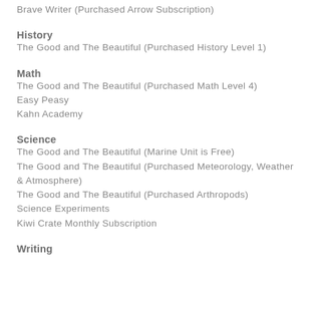Brave Writer (Purchased Arrow Subscription)
History
The Good and The Beautiful (Purchased History Level 1)
Math
The Good and The Beautiful (Purchased Math Level 4)
Easy Peasy
Kahn Academy
Science
The Good and The Beautiful (Marine Unit is Free)
The Good and The Beautiful (Purchased Meteorology, Weather & Atmosphere)
The Good and The Beautiful (Purchased Arthropods)
Science Experiments
Kiwi Crate Monthly Subscription
Writing